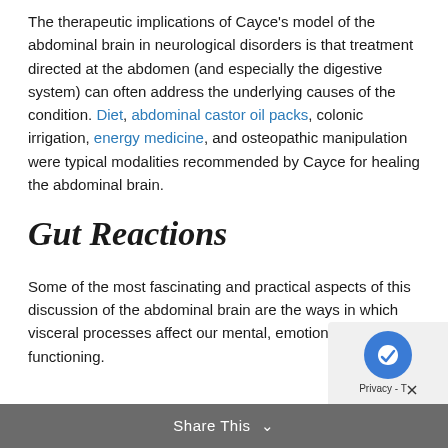The therapeutic implications of Cayce's model of the abdominal brain in neurological disorders is that treatment directed at the abdomen (and especially the digestive system) can often address the underlying causes of the condition. Diet, abdominal castor oil packs, colonic irrigation, energy medicine, and osteopathic manipulation were typical modalities recommended by Cayce for healing the abdominal brain.
Gut Reactions
Some of the most fascinating and practical aspects of this discussion of the abdominal brain are the ways in which visceral processes affect our mental, emotional, and spiritual functioning.
Share This